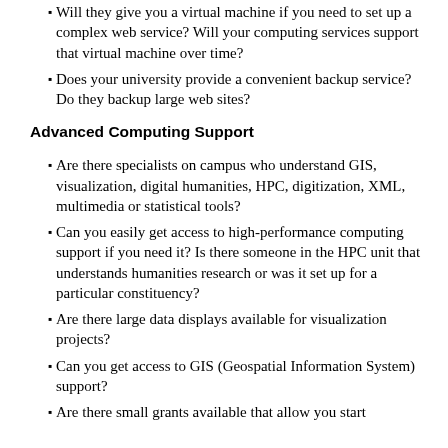Will they give you a virtual machine if you need to set up a complex web service? Will your computing services support that virtual machine over time?
Does your university provide a convenient backup service? Do they backup large web sites?
Advanced Computing Support
Are there specialists on campus who understand GIS, visualization, digital humanities, HPC, digitization, XML, multimedia or statistical tools?
Can you easily get access to high-performance computing support if you need it? Is there someone in the HPC unit that understands humanities research or was it set up for a particular constituency?
Are there large data displays available for visualization projects?
Can you get access to GIS (Geospatial Information System) support?
Are there small grants available that allow you start